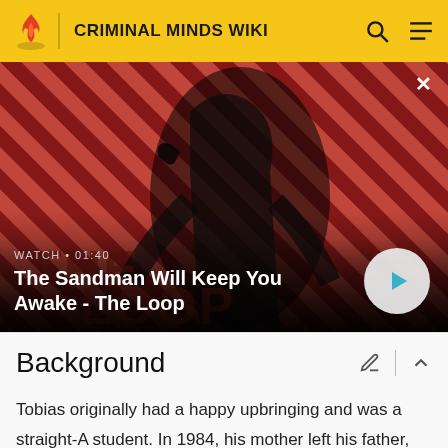CRIMINAL MINDS WIKI
[Figure (screenshot): Video thumbnail for 'The Sandman Will Keep You Awake - The Loop' showing a dark figure with a raven against a red and black diagonal striped background. Overlaid text reads: WATCH · 01:40 / The Sandman Will Keep You Awake - The Loop. A play button is visible on the right.]
Background
Tobias originally had a happy upbringing and was a straight-A student. In 1984, his mother left his father, Charles, for another man. Afterward, Charles became